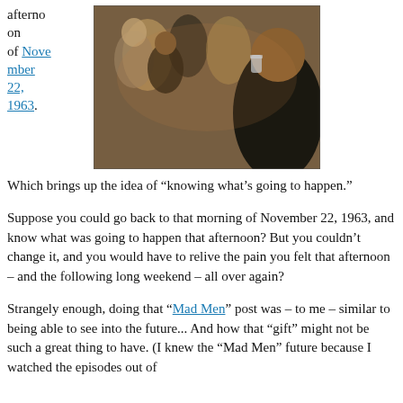afternoon of November 22, 1963.
[Figure (photo): Scene from Mad Men TV show showing people at a bar or party, raising glasses, in period 1960s clothing and setting.]
Which brings up the idea of “knowing what’s going to happen.”
Suppose you could go back to that morning of November 22, 1963, and know what was going to happen that afternoon? But you couldn’t change it, and you would have to relive the pain you felt that afternoon – and the following long weekend – all over again?
Strangely enough, doing that “Mad Men” post was – to me – similar to being able to see into the future... And how that “gift” might not be such a great thing to have. (I knew the “Mad Men” future because I watched the episodes out of